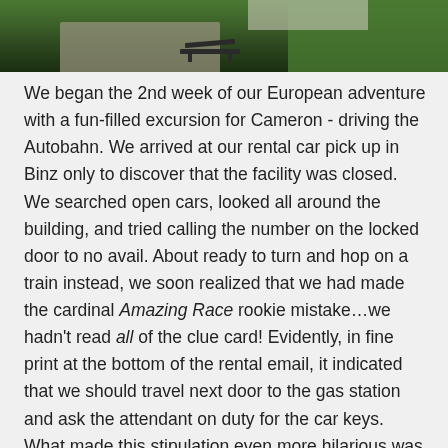[Figure (photo): Outdoor park scene showing a bench on a path surrounded by green grass, with a building partially visible in the background. The image is cropped showing only the bottom portion.]
We began the 2nd week of our European adventure with a fun-filled excursion for Cameron - driving the Autobahn. We arrived at our rental car pick up in Binz only to discover that the facility was closed. We searched open cars, looked all around the building, and tried calling the number on the locked door to no avail. About ready to turn and hop on a train instead, we soon realized that we had made the cardinal Amazing Race rookie mistake…we hadn't read all of the clue card! Evidently, in fine print at the bottom of the rental email, it indicated that we should travel next door to the gas station and ask the attendant on duty for the car keys. What made this stipulation even more hilarious was that the woman did not speak English and we did not speak German, so her